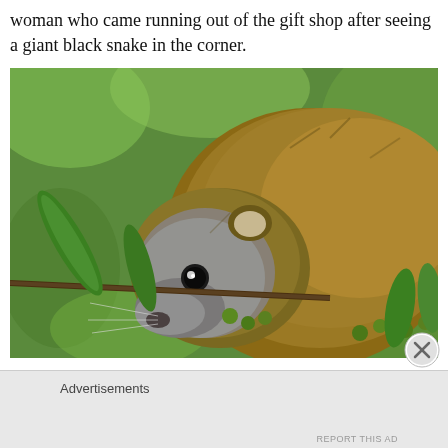woman who came running out of the gift shop after seeing a giant black snake in the corner.
[Figure (photo): Close-up photograph of a small furry animal (hyrax or similar) nibbling on a leafy green branch with small round berries, against a blurred green background.]
OBVIOUSLY, neither Chuck nor I would get close enough to see the snake or get a picture!
Advertisements